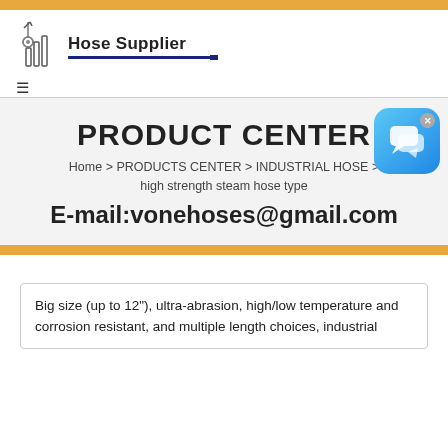[Figure (logo): Hose Supplier logo with industrial hose graphic and text 'Hose Supplier' with blue underline]
PRODUCT CENTER
Home > PRODUCTS CENTER > INDUSTRIAL HOSE > high strength steam hose type
E-mail:vonehoses@gmail.com
Big size (up to 12"), ultra-abrasion, high/low temperature and corrosion resistant, and multiple length choices, industrial